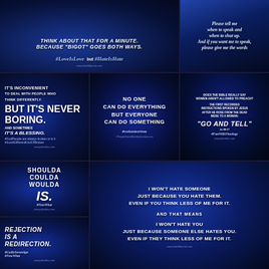[Figure (infographic): Dark blue textured background with white handwritten/bold text: 'THINK ABOUT THAT FOR A MINUTE. BECAUSE "BIGOT" GOES BOTH WAYS.' and '#LoveIsLove but #HateIsHate']
[Figure (infographic): Blue photo/texture background with cursive white text: 'Please tell me when to speak and when to shut up. And if you want me to speak, please give me the words']
[Figure (infographic): Dark blue swirling background, white text: 'IT'S INCONVENIENT TO DEAL WITH PEOPLE WHO THINK DIFFERENTLY. BUT IT'S NEVER BORING. AND SOMETIMES IT'S A BLESSING.' with hashtag #JustADifferentKindOfBroken]
[Figure (infographic): Dark blue background, white bold text: 'NO ONE CAN DO EVERYTHING BUT EVERYONE CAN DO SOMETHING #volunteerism']
[Figure (infographic): Dark blue background, white text: 'DOES THE BIBLE REALLY SAY WOMEN AREN'T ALLOWED TO PREACH? THE FIRST RECORDED INSTRUCTIONS SPOKEN BY JESUS AFTER HE ROSE FROM THE DEAD WERE TO A WOMAN: "GO AND TELL" Jn 20:17 #FunWithTheology']
[Figure (infographic): Dark blue swirling background, bold white text: 'SHOULDA COULDA WOULDA IS.' with #NowWhat]
[Figure (infographic): Dark blue background, white bold text: 'I WON'T HATE SOMEONE JUST BECAUSE YOU HATE THEM. EVEN IF YOU THINK LESS OF ME FOR IT. AND THAT MEANS I WON'T HATE YOU JUST BECAUSE SOMEONE ELSE HATES YOU. EVEN IF THEY THINK LESS OF ME FOR IT.']
[Figure (infographic): Dark blue swirling background, bold white text: 'REJECTION IS A REDIRECTION.' with #GodIsSovereign #NowWhat]